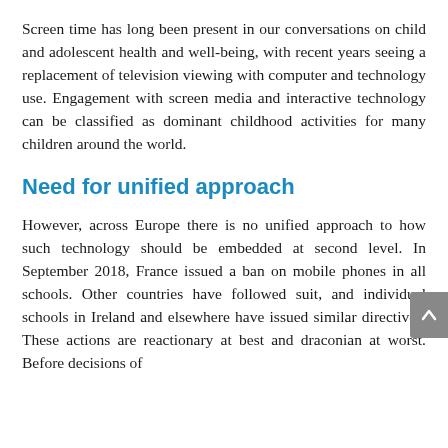Screen time has long been present in our conversations on child and adolescent health and well-being, with recent years seeing a replacement of television viewing with computer and technology use. Engagement with screen media and interactive technology can be classified as dominant childhood activities for many children around the world.
Need for unified approach
However, across Europe there is no unified approach to how such technology should be embedded at second level. In September 2018, France issued a ban on mobile phones in all schools. Other countries have followed suit, and individual schools in Ireland and elsewhere have issued similar directives. These actions are reactionary at best and draconian at worst. Before decisions of